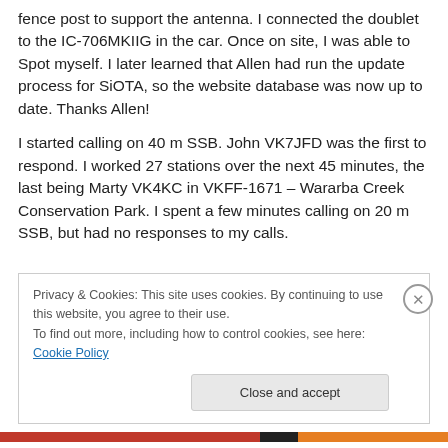fence post to support the antenna. I connected the doublet to the IC-706MKIIG in the car. Once on site, I was able to Spot myself. I later learned that Allen had run the update process for SiOTA, so the website database was now up to date. Thanks Allen!
I started calling on 40 m SSB. John VK7JFD was the first to respond. I worked 27 stations over the next 45 minutes, the last being Marty VK4KC in VKFF-1671 – Wararba Creek Conservation Park. I spent a few minutes calling on 20 m SSB, but had no responses to my calls.
Privacy & Cookies: This site uses cookies. By continuing to use this website, you agree to their use.
To find out more, including how to control cookies, see here: Cookie Policy
Close and accept